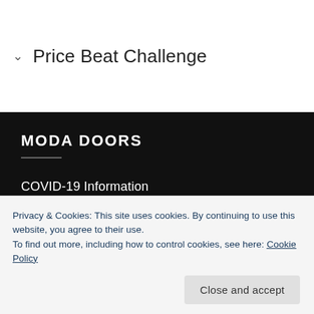Price Beat Challenge
MODA DOORS
COVID-19 Information
Who We Are
Contact Us
Trade
Get a Quote
Privacy & Cookies: This site uses cookies. By continuing to use this website, you agree to their use. To find out more, including how to control cookies, see here: Cookie Policy
Close and accept
My account